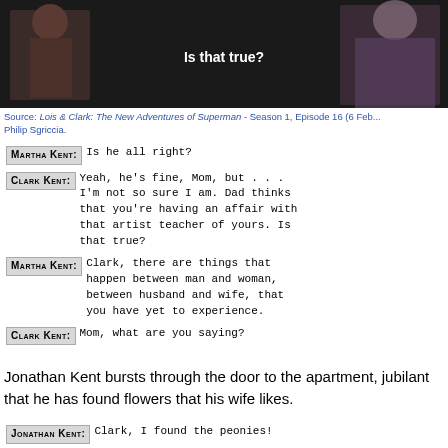[Figure (screenshot): Video screenshot from Lois & Clark: The New Adventures of Superman showing two characters, with subtitle text 'Is that true?' in white on a dark background]
Source: Lois & Clark: The New Adventures of Superman - Season 1, Episode 16 (6 Feb... Philip Sgriccia.
MARTHA KENT: Is he all right?
CLARK KENT: Yeah, he's fine, Mom, but . . . I'm not so sure I am. Dad thinks that you're having an affair with that artist teacher of yours. Is that true?
MARTHA KENT: Clark, there are things that happen between man and woman, between husband and wife, that you have yet to experience.
CLARK KENT: Mom, what are you saying?
Jonathan Kent bursts through the door to the apartment, jubilant that he has found flowers that his wife likes.
JONATHAN KENT: Clark, I found the peonies!